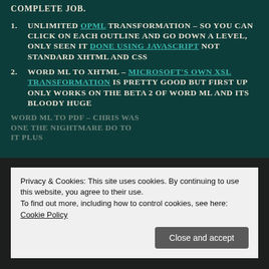COMPLETE JOB.
1. UNLIMITED OPML TRANSFORMATION – SO YOU CAN CLICK ON EACH OUTLINE AND GO DOWN A LEVEL, ONLY SEEN IT DONE USING JAVASCRIPT NOT STANDARD XHTML AND CSS
2. WORD ML TO XHTML – MICROSOFT'S OWN XSL TRANSFORMATION IS PRETTY GOOD BUT FIRST UP ONLY WORKS ON THE BETA 2 OF WORD ML AND ITS BLOODY HUGE
WORD ML TO PDF – CHRIS WAS ... ONE THE NIGHTMARE DO TO IT PLUS
Privacy & Cookies: This site uses cookies. By continuing to use this website, you agree to their use.
To find out more, including how to control cookies, see here:
Cookie Policy
Close and accept